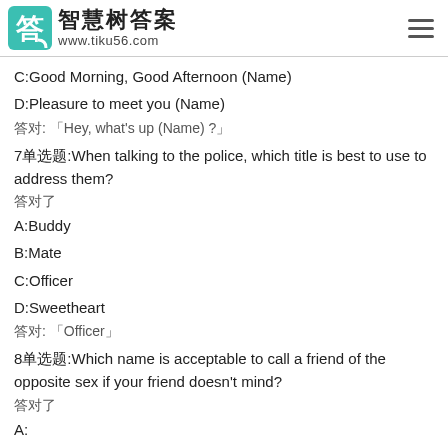智慧树答案 www.tiku56.com
C:Good Morning, Good Afternoon (Name)
D:Pleasure to meet you (Name)
答对: 「Hey, what's up (Name) ?」
7单选题:When talking to the police, which title is best to use to address them?
答对了
A:Buddy
B:Mate
C:Officer
D:Sweetheart
答对: 「Officer」
8单选题:Which name is acceptable to call a friend of the opposite sex if your friend doesn't mind?
答对了
A:
Sweetheart